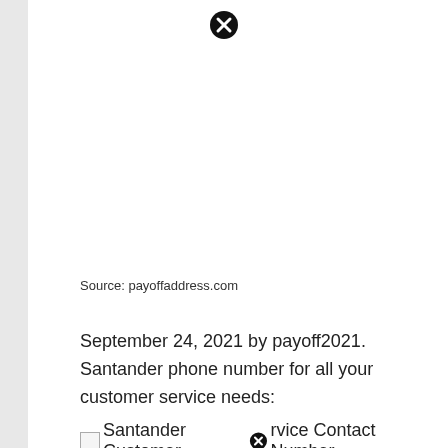[Figure (other): Close/cancel icon (black circle with X) at top of page]
Source: payoffaddress.com
September 24, 2021 by payoff2021. Santander phone number for all your customer service needs:
[broken image] Santander Customer [icon] rvice Contact Number